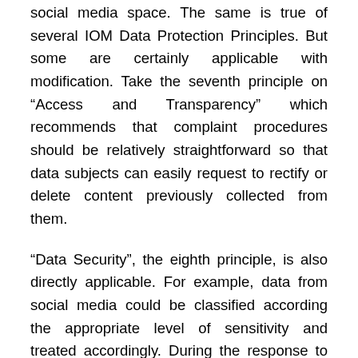social media space. The same is true of several IOM Data Protection Principles. But some are certainly applicable with modification. Take the seventh principle on “Access and Transparency” which recommends that complaint procedures should be relatively straightforward so that data subjects can easily request to rectify or delete content previously collected from them.
“Data Security”, the eighth principle, is also directly applicable. For example, data from social media could be classified according the appropriate level of sensitivity and treated accordingly. During the response to the Haiti earthquake, for example, we kept new information on the location of orphans confidential, sharing this only with trusted colleagues in the humanitarian community. “Separating personal data from non-personal data” is another procedure that can (and has) been used in crisis